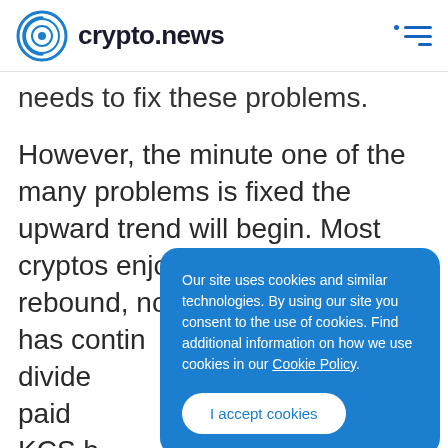crypto.news
needs to fix these problems.
However, the minute one of the many problems is fixed the upward trend will begin. Most cryptos enjoyed a nice February rebound, not KCS. Their slide has continued ... their of ... divid... paid ... KCS h... great ... adding a substantial number of coins,
Our site uses cookies and similar technologies. By using our site you consent to the use of cookies. Find additional information on how we use cookies in our Cookie Policy.